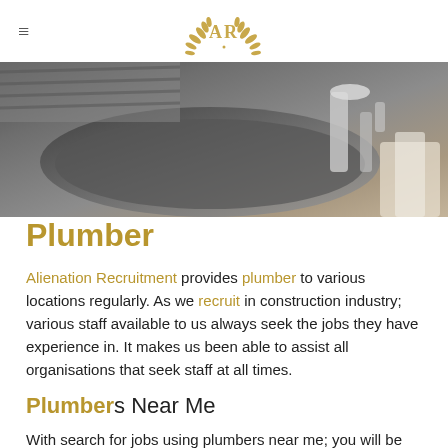AR (logo with laurel wreath) — Alienation Recruitment
[Figure (photo): Close-up photo of a stainless steel kitchen sink with plumbing fixtures and faucet parts, worker visible above]
Plumber
Alienation Recruitment provides plumber to various locations regularly. As we recruit in construction industry; various staff available to us always seek the jobs they have experience in. It makes us been able to assist all organisations that seek staff at all times.
Plumbers Near Me
With search for jobs using plumbers near me; you will be able to find plumber in your nearby locations. Similarly, this will